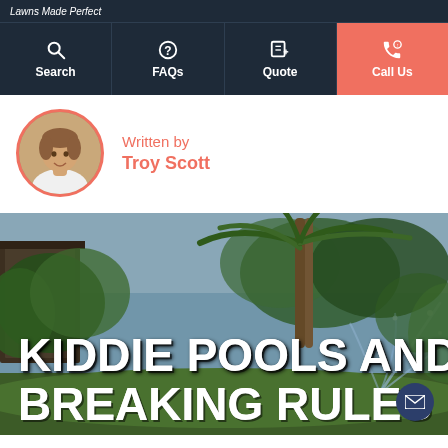Lawns Made Perfect
Search | FAQs | Quote | Call Us
Written by Troy Scott
[Figure (photo): Author photo of Troy Scott, circular portrait]
[Figure (photo): Outdoor garden/backyard scene with palm trees, lush greenery, and a sprinkler spraying water. Hero image with bold white text overlay reading KIDDIE POOLS AND BREAKING RULES]
KIDDIE POOLS AND BREAKING RULES